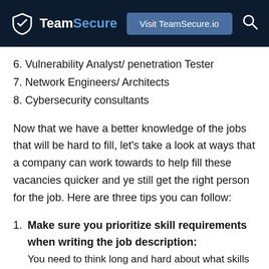TeamSecure | Visit TeamSecure.io
6. Vulnerability Analyst/ penetration Tester
7. Network Engineers/ Architects
8. Cybersecurity consultants
Now that we have a better knowledge of the jobs that will be hard to fill, let’s take a look at ways that a company can work towards to help fill these vacancies quicker and ye still get the right person for the job. Here are three tips you can follow:
1. Make sure you prioritize skill requirements when writing the job description:
You need to think long and hard about what skills you